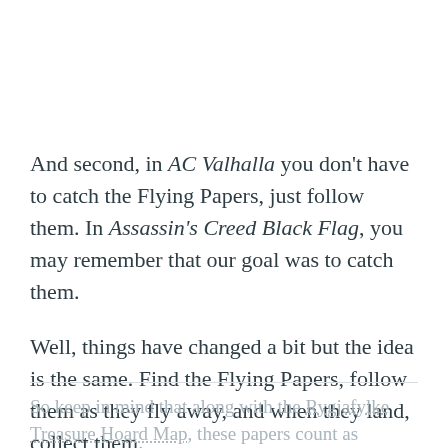And second, in AC Valhalla you don't have to catch the Flying Papers, just follow them. In Assassin's Creed Black Flag, you may remember that our goal was to catch them.
Well, things have changed a bit but the idea is the same. Find the Flying Papers, follow them as they fly away, and when they land, collect them.
So keep in mind that along with the Rygjafylke Treasure Hoard Map, these papers count as